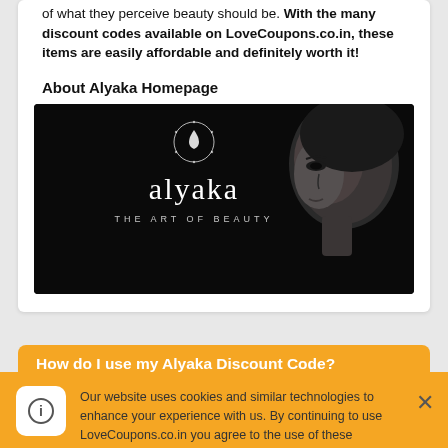of what they perceive beauty should be. With the many discount codes available on LoveCoupons.co.in, these items are easily affordable and definitely worth it!
About Alyaka Homepage
[Figure (photo): Alyaka brand homepage banner — black background with a white circular logo/icon at top center, large 'alyaka' wordmark, subtitle 'THE ART OF BEAUTY', and a grayscale photo of a woman's face on the right side.]
How do I use my Alyaka Discount Code?
Our website uses cookies and similar technologies to enhance your experience with us. By continuing to use LoveCoupons.co.in you agree to the use of these technologies. Read more.